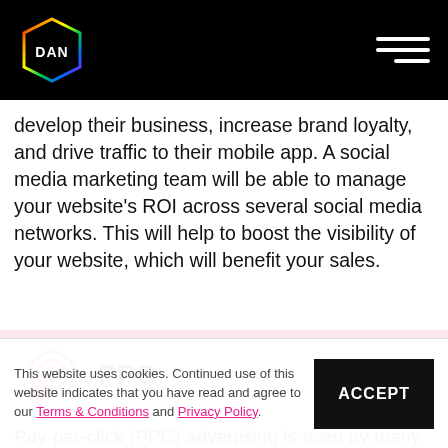DAN logo and hamburger menu navigation
develop their business, increase brand loyalty, and drive traffic to their mobile app. A social media marketing team will be able to manage your website's ROI across several social media networks. This will help to boost the visibility of your website, which will benefit your sales.
PPC
Pay-per-click (PPC) advertising is used by many fashion retailers to boost sales and traffic to their online sites. Paid search, such as Google Ads
This website uses cookies. Continued use of this website indicates that you have read and agree to our Terms & Conditions and Privacy Policy.